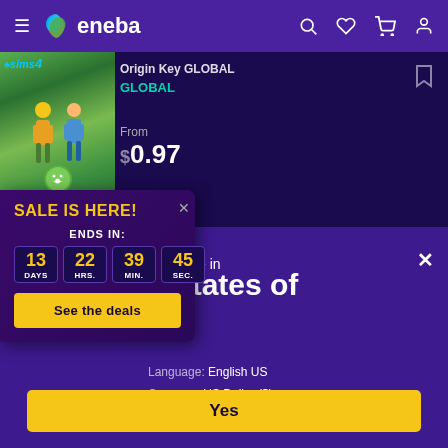eneba
[Figure (screenshot): Sims 4 My First Pet product listing showing game cover art, Origin Key GLOBAL label, GLOBAL badge, From price ~$0.97]
Origin Key GLOBAL
GLOBAL
From
0.97
SALE IS HERE!
ENDS IN:
13 DAYS 22 HRS. 39 MIN. 45 SEC.
See the deals
e in
d States of
ica
Language: English US
Currency: US Dollar ($)
Would you like to see a local version of the site?
Yes